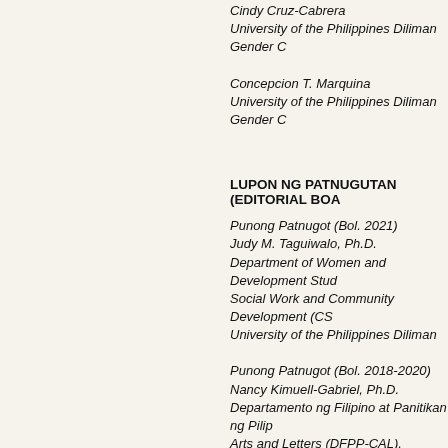Cindy Cruz-Cabrera
University of the Philippines Diliman Gender C
Concepcion T. Marquina
University of the Philippines Diliman Gender C
LUPON NG PATNUGUTAN (EDITORIAL BOA
Punong Patnugot (Bol. 2021)
Judy M. Taguiwalo, Ph.D.
Department of Women and Development Stud
Social Work and Community Development (CS
University of the Philippines Diliman
Punong Patnugot (Bol. 2018-2020)
Nancy Kimuell-Gabriel, Ph.D.
Departamento ng Filipino at Panitikan ng Pilip
Arts and Letters (DFPP-CAL), University of the
Diliman
Katuwang na Patnugot
Cindy Cruz-Cabrera
University of the Philippines Diliman
Tagapamahalang Patnugot
Ma. Sta. lucia de la lu...